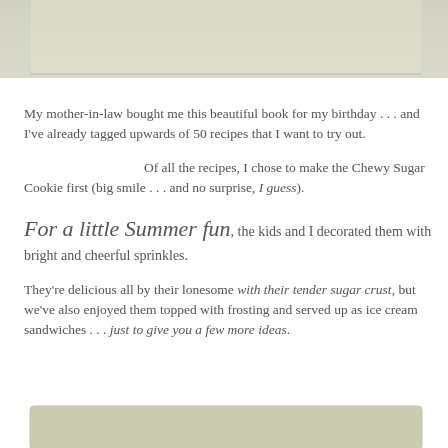[Figure (photo): Top portion of a photo showing a light-colored background, partially cut off at the top of the page]
My mother-in-law bought me this beautiful book for my birthday . . . and I've already tagged upwards of 50 recipes that I want to try out.
Of all the recipes, I chose to make the Chewy Sugar Cookie first (big smile . . . and no surprise, I guess).
For a little Summer fun, the kids and I decorated them with bright and cheerful sprinkles.
They're delicious all by their lonesome with their tender sugar crust, but we've also enjoyed them topped with frosting and served up as ice cream sandwiches . . . just to give you a few more ideas.
[Figure (photo): Bottom portion of a photo showing a light olive/green colored background, partially cut off at the bottom of the page]